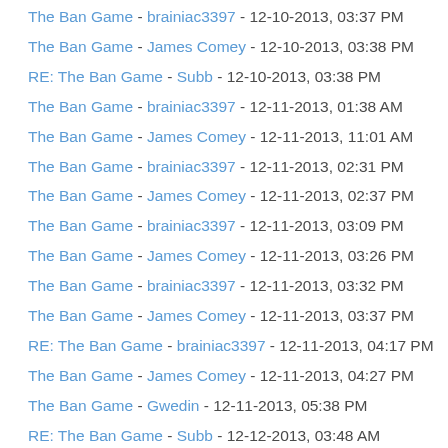The Ban Game - brainiac3397 - 12-10-2013, 03:37 PM
The Ban Game - James Comey - 12-10-2013, 03:38 PM
RE: The Ban Game - Subb - 12-10-2013, 03:38 PM
The Ban Game - brainiac3397 - 12-11-2013, 01:38 AM
The Ban Game - James Comey - 12-11-2013, 11:01 AM
The Ban Game - brainiac3397 - 12-11-2013, 02:31 PM
The Ban Game - James Comey - 12-11-2013, 02:37 PM
The Ban Game - brainiac3397 - 12-11-2013, 03:09 PM
The Ban Game - James Comey - 12-11-2013, 03:26 PM
The Ban Game - brainiac3397 - 12-11-2013, 03:32 PM
The Ban Game - James Comey - 12-11-2013, 03:37 PM
RE: The Ban Game - brainiac3397 - 12-11-2013, 04:17 PM
The Ban Game - James Comey - 12-11-2013, 04:27 PM
The Ban Game - Gwedin - 12-11-2013, 05:38 PM
RE: The Ban Game - Subb - 12-12-2013, 03:48 AM
The Ban Game - James Comey - 12-12-2013, 10:29 AM
The Ban Game - Gwedin - 12-12-2013, 10:46 AM
The Ban Game - James Comey - 12-14-2013, 04:53 PM
The Ban Game - Amortisatie - 12-14-2013, 05:49 PM
The Ban Game - Gwedin - 12-14-2013, 06:44 PM
RE: The Ban Game - Subb - 12-15-2013, 05:10 AM
The Ban Game - James Comey - 12-15-2013, 06:06 AM
The Ban Game - Gwedin - 12-15-2013, 06:59 AM
The Ban Game - James Comey - 12-20-2013, 04:48 PM